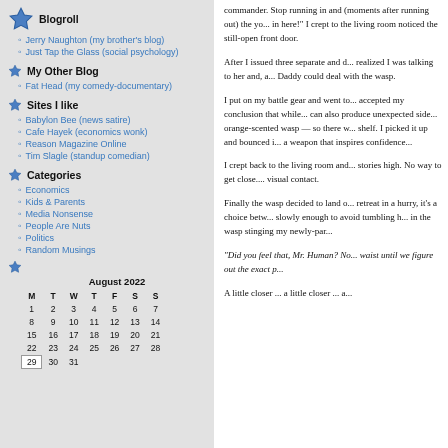Blogroll
Jerry Naughton (my brother's blog)
Just Tap the Glass (social psychology)
My Other Blog
Fat Head (my comedy-documentary)
Sites I like
Babylon Bee (news satire)
Cafe Hayek (economics wonk)
Reason Magazine Online
Tim Slagle (standup comedian)
Categories
Economics
Kids & Parents
Media Nonsense
People Are Nuts
Politics
Random Musings
| M | T | W | T | F | S | S |
| --- | --- | --- | --- | --- | --- | --- |
| 1 | 2 | 3 | 4 | 5 | 6 | 7 |
| 8 | 9 | 10 | 11 | 12 | 13 | 14 |
| 15 | 16 | 17 | 18 | 19 | 20 | 21 |
| 22 | 23 | 24 | 25 | 26 | 27 | 28 |
| 29 | 30 | 31 |  |  |  |  |
commander. Stop running in and... moments after running out) the yo... in here! I crept to the living room noticed the still-open front door.
After I issued three separate and d... realized I was talking to her and, a... Daddy could deal with the wasp.
I put on my battle gear and went to... accepted my conclusion that while... can also produce unexpected side... orange-scented wasp — so there w... shelf. I picked it up and bounced i... a weapon that inspires confidence...
I crept back to the living room and... stories high. No way to get close.... visual contact.
Finally the wasp decided to land o... retreat in a hurry, it's a choice betw... slowly enough to avoid tumbling h... in the wasp stinging my newly-par...
“Did you feel that, Mr. Human? No... waist until we figure out the exact p...
A little closer ... a little closer ... a...